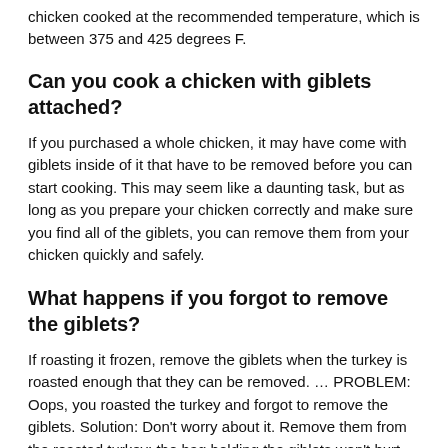chicken cooked at the recommended temperature, which is between 375 and 425 degrees F.
Can you cook a chicken with giblets attached?
If you purchased a whole chicken, it may have come with giblets inside of it that have to be removed before you can start cooking. This may seem like a daunting task, but as long as you prepare your chicken correctly and make sure you find all of the giblets, you can remove them from your chicken quickly and safely.
What happens if you forgot to remove the giblets?
If roasting it frozen, remove the giblets when the turkey is roasted enough that they can be removed. … PROBLEM: Oops, you roasted the turkey and forgot to remove the giblets. Solution: Don't worry about it. Remove them from the roasted turkey; the bag holding the giblets won't hurt the meat you've roasted.